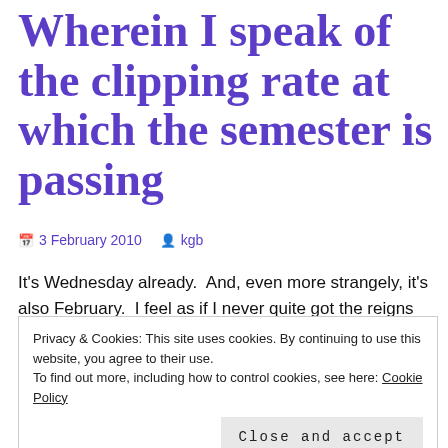Wherein I speak of the clipping rate at which the semester is passing
3 February 2010  kgb
It's Wednesday already.  And, even more strangely, it's also February.  I feel as if I never quite got the reigns on January and it's run off without me.  What really gets me is when I start thinking about it like, “January of 2010 is already over...
Privacy & Cookies: This site uses cookies. By continuing to use this website, you agree to their use.
To find out more, including how to control cookies, see here: Cookie Policy
long time, after all.  Elementary school definitely